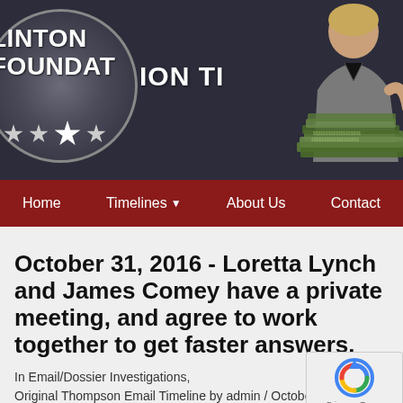[Figure (screenshot): Website header banner for 'Clinton Foundation Timeline' with dark background, circular logo on left, large title text in center-right, and photo of a woman (Hillary Clinton) with stacks of money on the right side]
Home   Timelines ▾   About Us   Contact
October 31, 2016 - Loretta Lynch and James Comey have a private meeting, and agree to work together to get faster answers.
In Email/Dossier Investigations,
Original Thompson Email Timeline by admin / October 31,